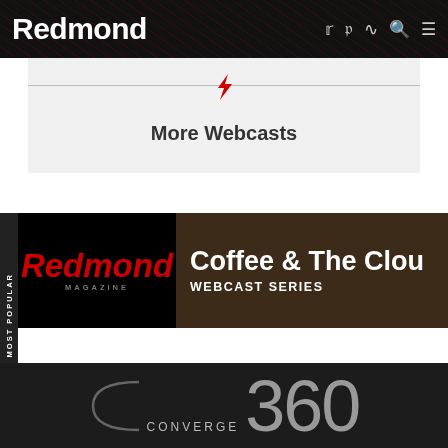Redmond
More Webcasts
[Figure (screenshot): Coffee & The Cloud Webcast Series banner with Redmond Magazine logo]
[Figure (logo): Converge 360 logo with arc graphic on dark background]